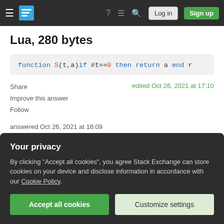Stack Exchange navigation bar with Log in and Sign up buttons
Lua, 280 bytes
[Figure (screenshot): Code block showing: function S(t,a)if #t==0 then return a end r]
Share
Improve this answer
Follow
edited Oct 26, 2021 at 17:10
answered Oct 26, 2021 at 16:09
Kied Llaentenn
Your privacy
By clicking "Accept all cookies", you agree Stack Exchange can store cookies on your device and disclose information in accordance with our Cookie Policy.
Accept all cookies
Customize settings
thanks, that reminded me of the ternary operator.
Kied Llaentenn Oct 26, 2021 at 17:10